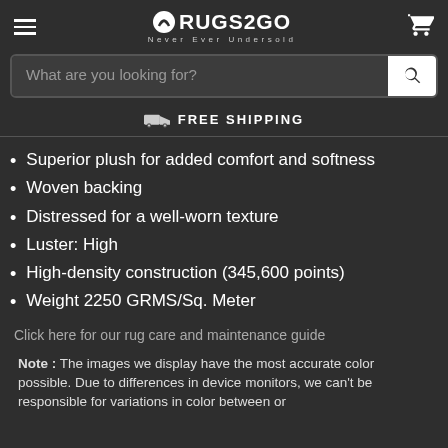RUGS2GO — Never Ever Undersold
What are you looking for?
FREE SHIPPING
Superior plush for added comfort and softness
Woven backing
Distressed for a well-worn texture
Luster: High
High-density construction (345,600 points)
Weight 2250 GRMS/Sq. Meter
Click here for our rug care and maintenance guide
Note : The images we display have the most accurate color possible. Due to differences in device monitors, we can't be responsible for variations in color between or